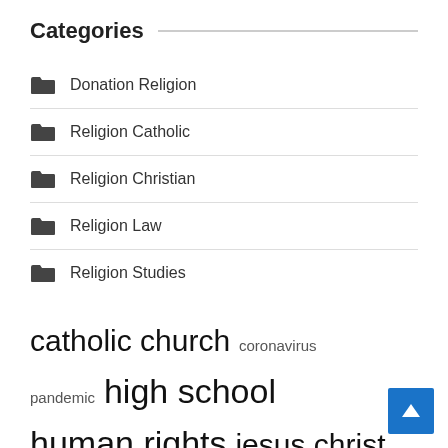Categories
Donation Religion
Religion Catholic
Religion Christian
Religion Law
Religion Studies
catholic church  coronavirus pandemic  high school  human rights  jesus christ  long term  los angeles  notre dame  prime minister  religious beliefs  religious communities